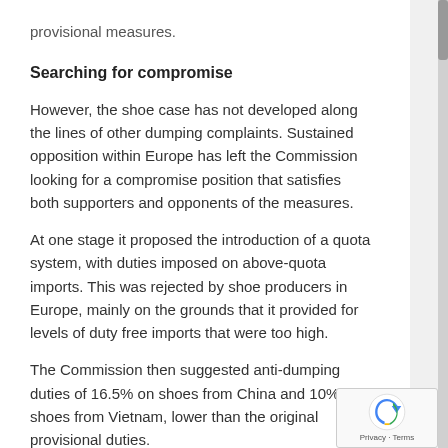provisional measures.
Searching for compromise
However, the shoe case has not developed along the lines of other dumping complaints. Sustained opposition within Europe has left the Commission looking for a compromise position that satisfies both supporters and opponents of the measures.
At one stage it proposed the introduction of a quota system, with duties imposed on above-quota imports. This was rejected by shoe producers in Europe, mainly on the grounds that it provided for levels of duty free imports that were too high.
The Commission then suggested anti-dumping duties of 16.5% on shoes from China and 10% on shoes from Vietnam, lower than the original provisional duties.
This offer was rejected in early August by a majority of